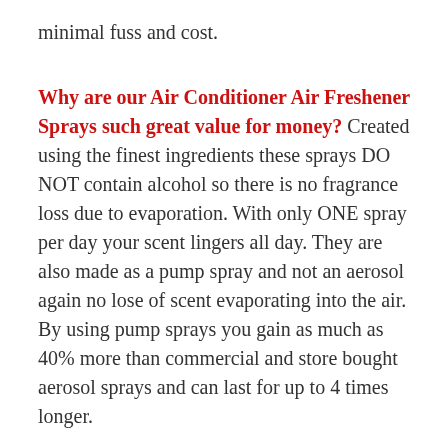minimal fuss and cost.
Why are our Air Conditioner Air Freshener Sprays such great value for money? Created using the finest ingredients these sprays DO NOT contain alcohol so there is no fragrance loss due to evaporation. With only ONE spray per day your scent lingers all day. They are also made as a pump spray and not an aerosol again no lose of scent evaporating into the air. By using pump sprays you gain as much as 40% more than commercial and store bought aerosol sprays and can last for up to 4 times longer.